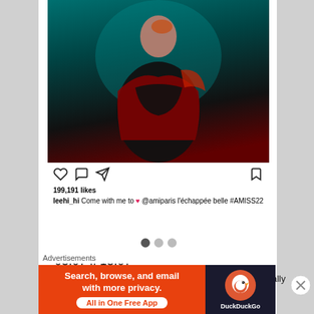[Figure (screenshot): Instagram post screenshot showing a woman in red and black jacket against teal background, with likes and caption. Below: like/comment/share icons, 199,191 likes, caption by leehi_hi about @amiparis. Three navigation dots below the image.]
03.07 || 13.07
The first phot is another professional shot, but I just really
Advertisements
[Figure (screenshot): DuckDuckGo advertisement banner: orange background with text 'Search, browse, and email with more privacy. All in One Free App' and DuckDuckGo duck logo on dark right panel.]